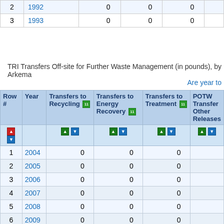| Row # | Year | Transfers to Recycling | Transfers to Energy Recovery | Transfers to Treatment | POTW Transfers / Other Releases |
| --- | --- | --- | --- | --- | --- |
| 2 | 1992 | 0 | 0 | 0 |  |
| 3 | 1993 | 0 | 0 | 0 |  |
TRI Transfers Off-site for Further Waste Management (in pounds), by Arkema
Are year to
| Row # | Year | Transfers to Recycling | Transfers to Energy Recovery | Transfers to Treatment | POTW Transfers / Other Releases |
| --- | --- | --- | --- | --- | --- |
| 1 | 2004 | 0 | 0 | 0 |  |
| 2 | 2005 | 0 | 0 | 0 |  |
| 3 | 2006 | 0 | 0 | 0 |  |
| 4 | 2007 | 0 | 0 | 0 |  |
| 5 | 2008 | 0 | 0 | 0 |  |
| 6 | 2009 | 0 | 0 | 0 |  |
| 7 | 2010 | 0 | 0 | 0 |  |
| 8 | 2011 | 0 | 0 | 0 |  |
| 9 | 2012 | 0 | 0 | 0 |  |
| 10 | 2013 | 0 | 0 | 0 |  |